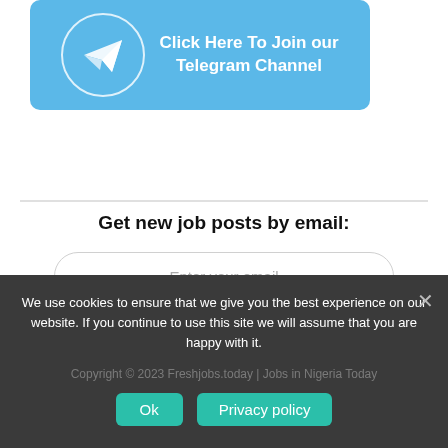[Figure (illustration): Telegram channel promotional banner with paper airplane icon in circle on blue background and white bold text 'Click Here To Join our Telegram Channel']
Get new job posts by email:
Enter your email
Subscribe
We use cookies to ensure that we give you the best experience on our website. If you continue to use this site we will assume that you are happy with it.
Copyright © 2023 Freshjobs.today | Jobs in Nigeria Today
Ok
Privacy policy